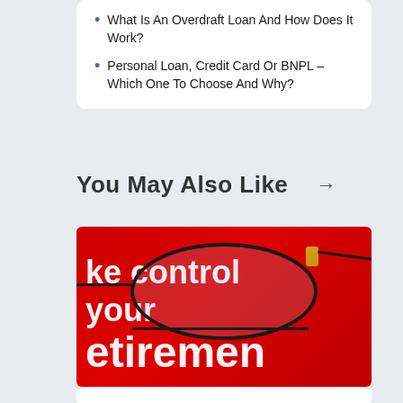What Is An Overdraft Loan And How Does It Work?
Personal Loan, Credit Card Or BNPL – Which One To Choose And Why?
You May Also Like →
[Figure (photo): A red background with white bold text reading 'take control your retirement', with a pair of reading glasses placed on top. Glasses have a gold hinge detail.]